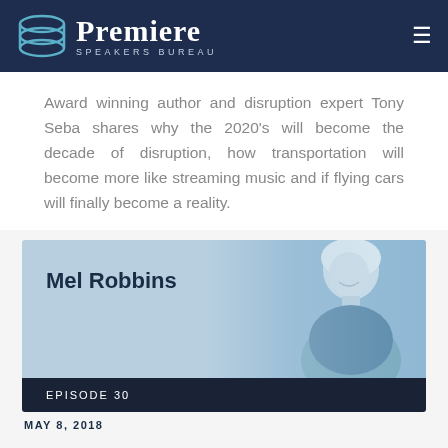Premiere Speakers Bureau
Award winning author and disruption expert Tony Seba shares why the 2020's will become the decade of disruption, how transportation will become more like streaming music and if flying cars will finally become a reality.
[Figure (photo): Card featuring Mel Robbins with her photo on a blue background]
EPISODE 30
MAY 8, 2018